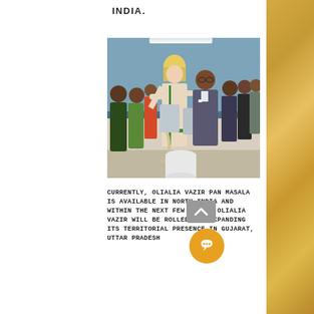INDIA.
[Figure (photo): Photo of a blonde woman in Indian traditional dress and a man in a suit, pouring grain/product into a container, surrounded by several people in an indoor setting with blue walls.]
CURRENTLY, OLIALIA VAZIR PAN MASALA IS AVAILABLE IN NORTH INDIA AND WITHIN THE NEXT FEW WEEKS, OLIALIA VAZIR WILL BE ROLLED OUT EXPANDING ITS TERRITORIAL PRESENCE IN GUJARAT, UTTAR PRADESH